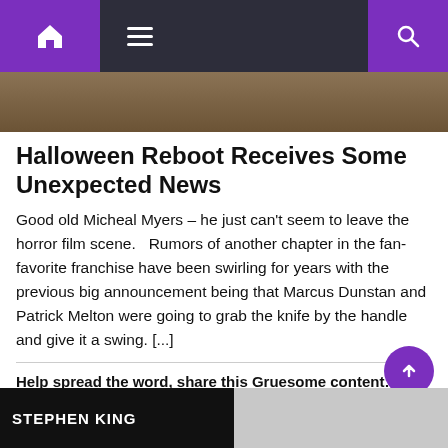Navigation bar with home icon, menu, and search
[Figure (photo): Dark brownish hero image at top of article]
Halloween Reboot Receives Some Unexpected News
Good old Micheal Myers – he just can't seem to leave the horror film scene.   Rumors of another chapter in the fan-favorite franchise have been swirling for years with the previous big announcement being that Marcus Dunstan and Patrick Melton were going to grab the knife by the handle and give it a swing. [...]
Help spread the word, share this Gruesome content:
Facebook
Twitter
Pinterest
Tumblr
LinkedIn
Reddit
More
[Figure (photo): Stephen King text on black background at bottom of page]